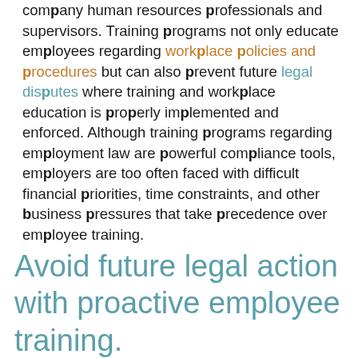company human resources professionals and supervisors. Training programs not only educate employees regarding workplace policies and procedures but can also prevent future legal disputes where training and workplace education is properly implemented and enforced. Although training programs regarding employment law are powerful compliance tools, employers are too often faced with difficult financial priorities, time constraints, and other business pressures that take precedence over employee training.
Avoid future legal action with proactive employee training.